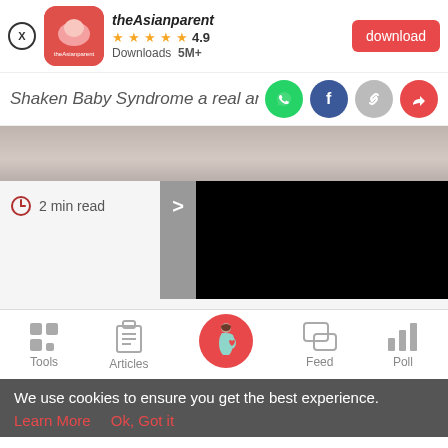[Figure (screenshot): App download banner with theAsianparent logo, 4.9 star rating, 5M+ downloads, and red download button]
Shaken Baby Syndrome a real and le
[Figure (screenshot): Social share icons: WhatsApp, Facebook, chain/link, and share arrow]
[Figure (photo): Hero image showing soft-focus background]
2 min read
[Figure (screenshot): Black redacted/blocked content area with navigation arrow]
[Figure (screenshot): Bottom navigation bar with Tools, Articles, home (pregnant woman icon), Feed, Poll]
We use cookies to ensure you get the best experience.
Learn More   Ok, Got it